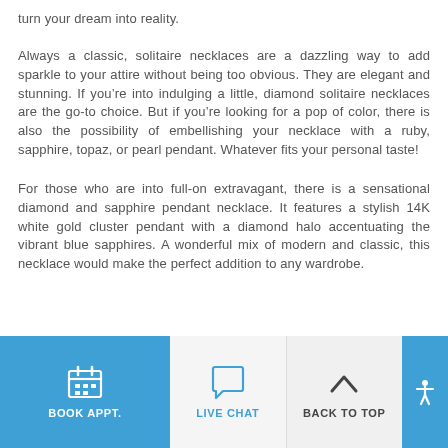turn your dream into reality.
Always a classic, solitaire necklaces are a dazzling way to add sparkle to your attire without being too obvious. They are elegant and stunning. If you’re into indulging a little, diamond solitaire necklaces are the go-to choice. But if you’re looking for a pop of color, there is also the possibility of embellishing your necklace with a ruby, sapphire, topaz, or pearl pendant. Whatever fits your personal taste!
For those who are into full-on extravagant, there is a sensational diamond and sapphire pendant necklace. It features a stylish 14K white gold cluster pendant with a diamond halo accentuating the vibrant blue sapphires. A wonderful mix of modern and classic, this necklace would make the perfect addition to any wardrobe.
BOOK APPT. | LIVE CHAT | BACK TO TOP